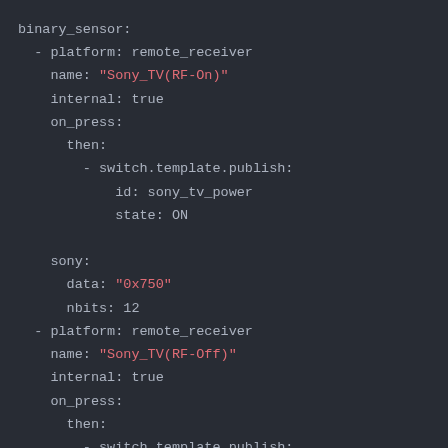[Figure (screenshot): YAML configuration code block on dark background showing binary_sensor platform configuration for Sony TV RF On and RF Off remote receiver sensors, with on_press actions publishing to switch.template and sony protocol data settings.]